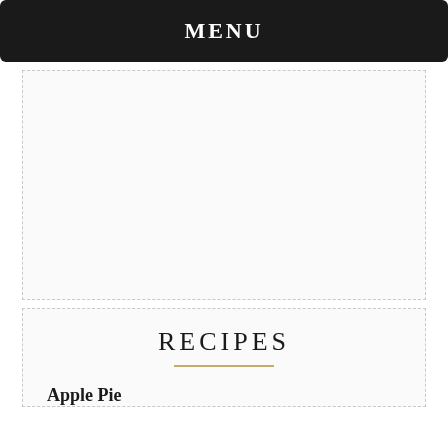MENU
[Figure (other): Large empty image placeholder box with dashed border]
RECIPES
Apple Pie